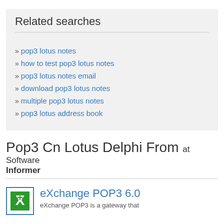Related searches
» pop3 lotus notes
» how to test pop3 lotus notes
» pop3 lotus notes email
» download pop3 lotus notes
» multiple pop3 lotus notes
» pop3 lotus address book
Pop3 Cn Lotus Delphi From at Software Informer
eXchange POP3 6.0
eXchange POP3 is a gateway that